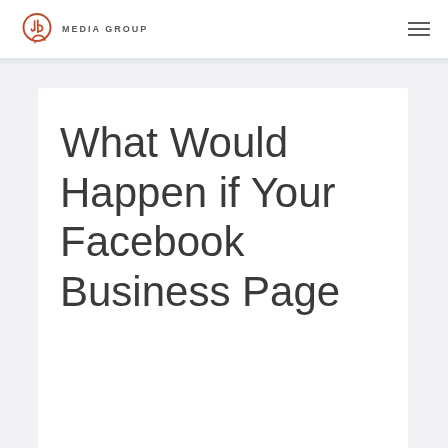JB Media Group
What Would Happen if Your Facebook Business Page